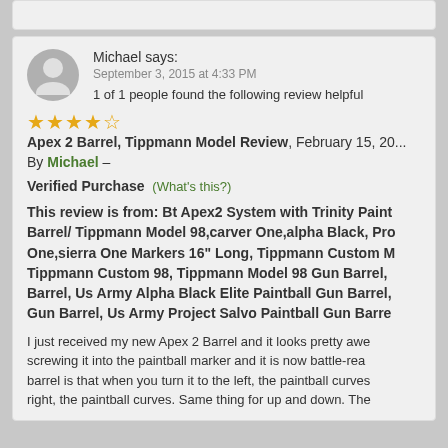Michael says: September 3, 2015 at 4:33 PM
1 of 1 people found the following review helpful
★★★★☆ Apex 2 Barrel, Tippmann Model Review, February 15, 20...
By Michael –
Verified Purchase (What's this?)
This review is from: Bt Apex2 System with Trinity Paint Barrel/ Tippmann Model 98,carver One,alpha Black, Pro One,sierra One Markers 16" Long, Tippmann Custom M Tippmann Custom 98, Tippmann Model 98 Gun Barrel, Barrel, Us Army Alpha Black Elite Paintball Gun Barrel, Gun Barrel, Us Army Project Salvo Paintball Gun Barre
I just received my new Apex 2 Barrel and it looks pretty awe screwing it into the paintball marker and it is now battle-rea barrel is that when you turn it to the left, the paintball curves right, the paintball curves. Same thing for up and down. The